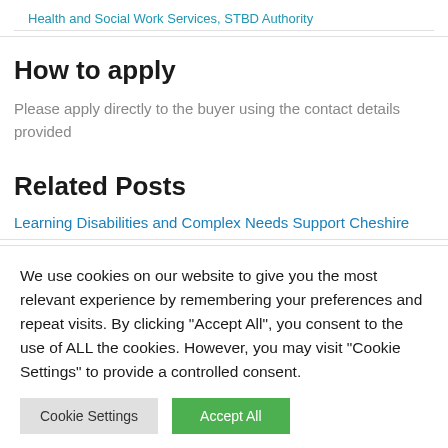Health and Social Work Services, STBD Authority
How to apply
Please apply directly to the buyer using the contact details provided
Related Posts
Learning Disabilities and Complex Needs Support Cheshire
We use cookies on our website to give you the most relevant experience by remembering your preferences and repeat visits. By clicking "Accept All", you consent to the use of ALL the cookies. However, you may visit "Cookie Settings" to provide a controlled consent.